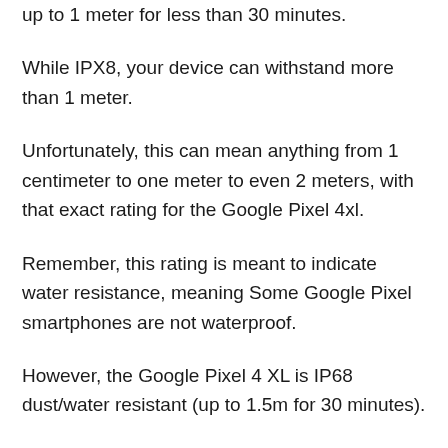up to 1 meter for less than 30 minutes.
While IPX8, your device can withstand more than 1 meter.
Unfortunately, this can mean anything from 1 centimeter to one meter to even 2 meters, with that exact rating for the Google Pixel 4xl.
Remember, this rating is meant to indicate water resistance, meaning Some Google Pixel smartphones are not waterproof.
However, the Google Pixel 4 XL is IP68 dust/water resistant (up to 1.5m for 30 minutes).